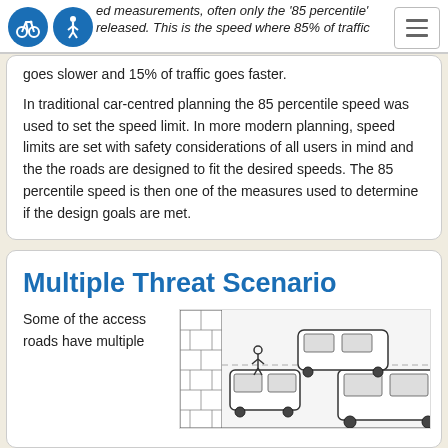speed measurements, often only the '85 percentile' is released. This is the speed where 85% of traffic goes slower and 15% of traffic goes faster.
goes slower and 15% of traffic goes faster.
In traditional car-centred planning the 85 percentile speed was used to set the speed limit. In more modern planning, speed limits are set with safety considerations of all users in mind and the the roads are designed to fit the desired speeds. The 85 percentile speed is then one of the measures used to determine if the design goals are met.
Multiple Threat Scenario
Some of the access roads have multiple
[Figure (illustration): Line drawing illustration showing cars parked and positioned on an access road with a building wall on the left side, demonstrating a multiple threat scenario for pedestrians.]